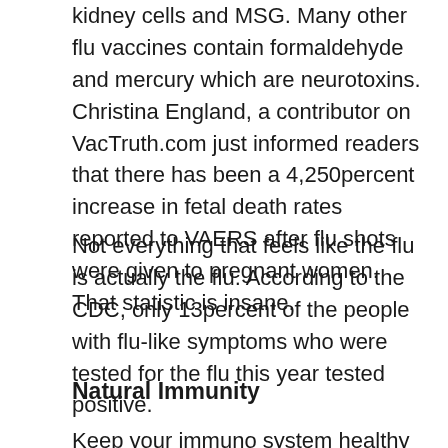kidney cells and MSG. Many other flu vaccines contain formaldehyde and mercury which are neurotoxins. Christina England, a contributor on VacTruth.com just informed readers that there has been a 4,250percent increase in fetal death rates reported to VAERS after flu shots were given to pregnant women. That statistic is insane.
Not everything that feels like the flu is actually the flu. According to the CDC, only 13percent of the people with flu-like symptoms who were tested for the flu this year tested positive.
Natural Immunity
Keep your immuno system healthy naturally with